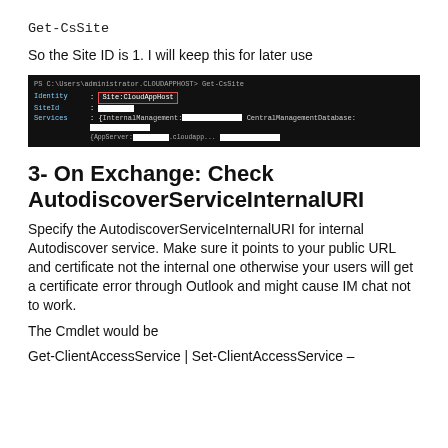Get-CsSite
So the Site ID is 1. I will keep this for later use
[Figure (screenshot): PowerShell terminal output showing Get-CsSite command with Identity, SiteId, and Services fields. Site name shown as CloudAppHost in a red-bordered box.]
3- On Exchange: Check AutodiscoverServiceInternalURI
Specify the AutodiscoverServiceInternalURI for internal Autodiscover service. Make sure it points to your public URL and certificate not the internal one otherwise your users will get a certificate error through Outlook and might cause IM chat not to work.
The Cmdlet would be
Get-ClientAccessService | Set-ClientAccessService –